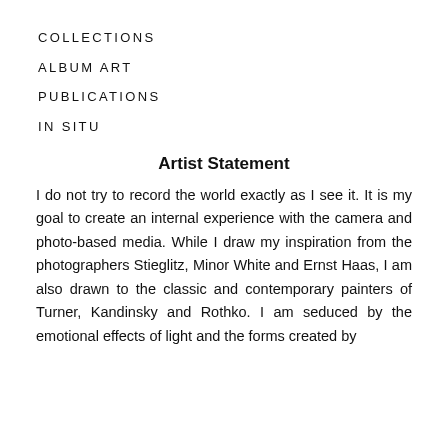COLLECTIONS
ALBUM ART
PUBLICATIONS
IN SITU
Artist Statement
I do not try to record the world exactly as I see it. It is my goal to create an internal experience with the camera and photo-based media. While I draw my inspiration from the photographers Stieglitz, Minor White and Ernst Haas, I am also drawn to the classic and contemporary painters of Turner, Kandinsky and Rothko. I am seduced by the emotional effects of light and the forms created by